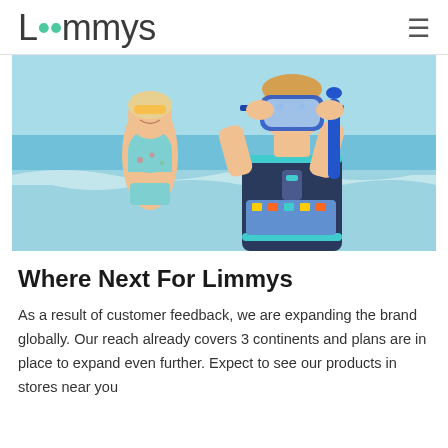Limmys
[Figure (photo): Two children at a beach. In the foreground, a young boy wearing a navy wetsuit with teal accents holds a blue diving mask up to his face and holds a snorkel. In the background, a girl in a patterned teal tankini swimsuit stands smiling.]
Where Next For Limmys
As a result of customer feedback, we are expanding the brand globally. Our reach already covers 3 continents and plans are in place to expand even further. Expect to see our products in stores near you